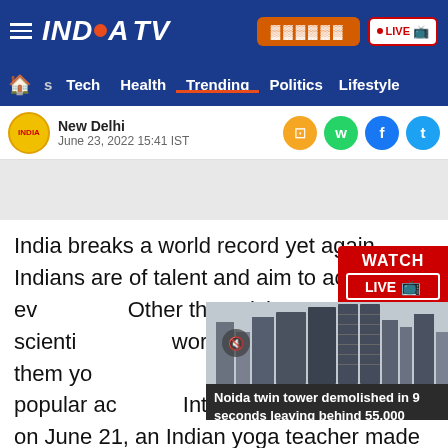[Figure (logo): India TV logo with hamburger menu on dark blue background, with Hindi button and LIVE button]
s  Tech  Health  Trending  Politics  Lifestyle
New Delhi
June 23, 2022 15:41 IST
[Figure (screenshot): Ad placeholder gray area]
India breaks a world record yet again. Indians are of talent and aim to achieve ev... Other than giving great scienti... world, India has given them yo... getting increasingly popular ac... International Yoga Day on June 21, an Indian yoga teacher made us proud after he broke the world record. Yash Mansukhbhai Moradiya, who lives in
[Figure (screenshot): Noida twin tower demolished in 9 seconds leaving behind 55,000 - video overlay thumbnail]